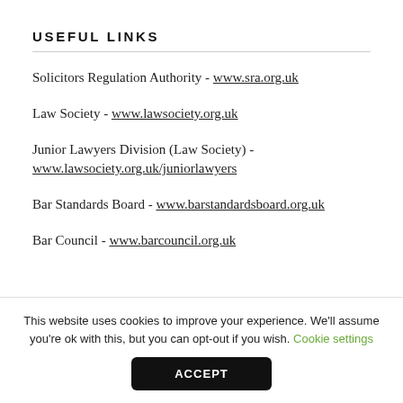USEFUL LINKS
Solicitors Regulation Authority - www.sra.org.uk
Law Society - www.lawsociety.org.uk
Junior Lawyers Division (Law Society) - www.lawsociety.org.uk/juniorlawyers
Bar Standards Board - www.barstandardsboard.org.uk
Bar Council - www.barcouncil.org.uk
This website uses cookies to improve your experience. We'll assume you're ok with this, but you can opt-out if you wish. Cookie settings
ACCEPT